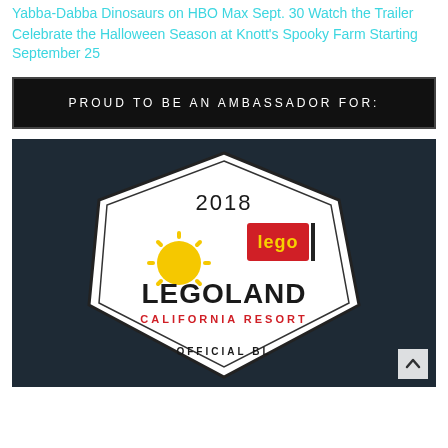Yabba-Dabba Dinosaurs on HBO Max Sept. 30 Watch the Trailer
Celebrate the Halloween Season at Knott's Spooky Farm Starting September 25
PROUD TO BE AN AMBASSADOR FOR:
[Figure (logo): Legoland California Resort 2018 Official Blogger badge on dark navy background. Badge shows a white rounded pentagon shape with '2018' at top, LEGO logo in red, a yellow sun icon, and 'LEGOLAND CALIFORNIA RESORT' in bold dark text.]